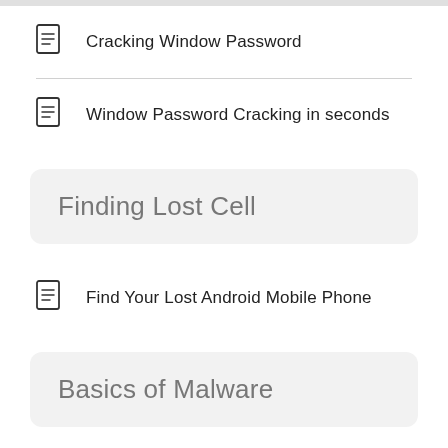Cracking Window Password
Window Password Cracking in seconds
Finding Lost Cell
Find Your Lost Android Mobile Phone
Basics of Malware